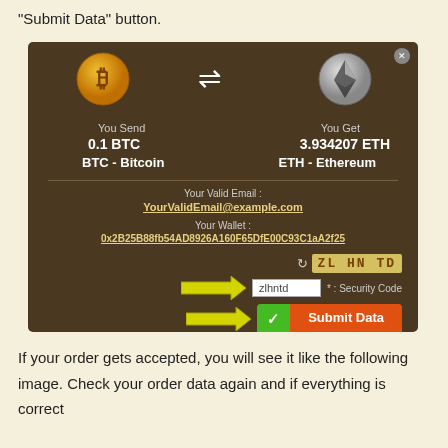"Submit Data" button.
[Figure (screenshot): Screenshot of a cryptocurrency exchange widget showing BTC to ETH conversion. Shows 0.1 BTC → 3.934207 ETH, with email field showing YourValidEmail@example.com, wallet address 0x2B25B88fb54AD8926A160F65DfE00C93C1aA2f25, a captcha image with code ZLHNTD, a security code input field with 'zlhntd' entered, and a Submit Data button with green checkmark and orange button. Two yellow arrows point to the captcha input and submit button.]
If your order gets accepted, you will see it like the following image. Check your order data again and if everything is correct